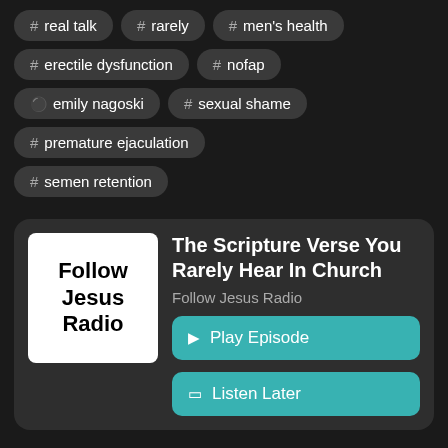# real talk
# rarely
# men's health
# erectile dysfunction
# nofap
person emily nagoski
# sexual shame
# premature ejaculation
# semen retention
[Figure (illustration): Podcast card with thumbnail showing 'Follow Jesus Radio' text on white background, title 'The Scripture Verse You Rarely Hear In Church', subtitle 'Follow Jesus Radio', and two teal buttons: 'Play Episode' and 'Listen Later']
The Scripture Verse You Rarely Hear In Church
Follow Jesus Radio